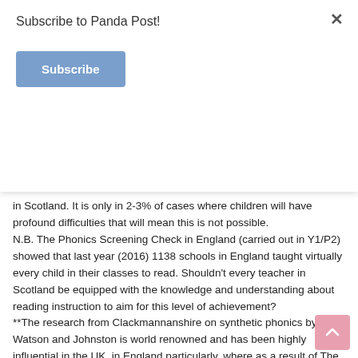Subscribe to Panda Post!
Subscribe
in Scotland. It is only in 2-3% of cases where children will have profound difficulties that will mean this is not possible.
N.B. The Phonics Screening Check in England (carried out in Y1/P2) showed that last year (2016) 1138 schools in England taught virtually every child in their classes to read. Shouldn’t every teacher in Scotland be equipped with the knowledge and understanding about reading instruction to aim for this level of achievement?
**The research from Clackmannanshire on synthetic phonics by Watson and Johnston is world renowned and has been highly influential in the UK, in England particularly, where as a result of The Rose Review,